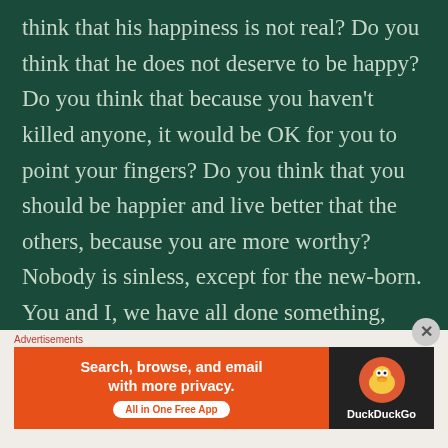think that his happiness is not real? Do you think that he does not deserve to be happy? Do you think that because you haven't killed anyone, it would be OK for you to point your fingers? Do you think that you should be happier and live better that the others, because you are more worthy?

Nobody is sinless, except for the new-born. You and I, we have all done something, said something that harms and hurts the feeling
[Figure (screenshot): DuckDuckGo advertisement banner with orange left side reading 'Search, browse, and email with more privacy. All in One Free App' and dark right side with DuckDuckGo duck logo.]